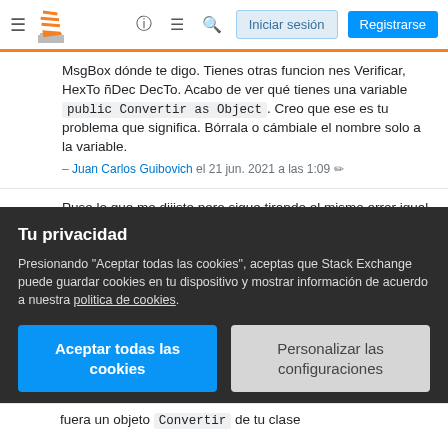Stack Overflow navigation bar with hamburger menu, logo, help, chat, search icons, Iniciar sesión and Registrarse buttons
MsgBox dónde te digo. Tienes otras funciones Verificar, HexToñDec DecTo. Acabo de ver qué tienes una variable public Convertir as Object. Creo que ese es tu problema que significa. Bórrala o cámbiale el nombre solo a la variable. – Juan Carlos Guibovich el 21 jun. 2021 a las 1:09
Puse lo que me dijiste pero sigue tirando el mismo error igual – Alejandro Caro el 21 jun. 2021 a las 1:11
Mostrar 18 comentarios más
Tu privacidad
Presionando "Aceptar todas las cookies", aceptas que Stack Exchange puede guardar cookies en tu dispositivo y mostrar información de acuerdo a nuestra politica de cookies.
Aceptar todas las cookies
Personalizar las configuraciones
fuera un objeto Convertir de tu clase